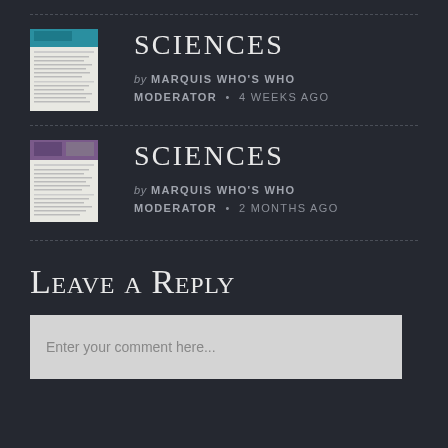[Figure (other): Thumbnail image of a Sciences magazine/document cover with teal header]
Sciences
by MARQUIS WHO'S WHO MODERATOR • 4 WEEKS AGO
[Figure (other): Thumbnail image of a Sciences magazine/document cover with purple header]
Sciences
by MARQUIS WHO'S WHO MODERATOR • 2 MONTHS AGO
Leave a Reply
Enter your comment here...